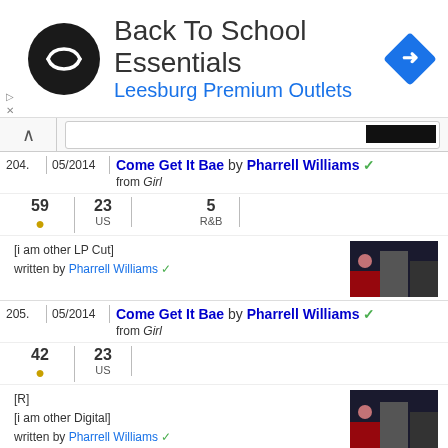[Figure (infographic): Ad banner: Back To School Essentials, Leesburg Premium Outlets, with circular logo and blue direction arrow icon]
204. 05/2014 Come Get It Bae by Pharrell Williams ✓ from Girl
59 (gold dot) | 23 US | 5 R&B
[i am other LP Cut]
written by Pharrell Williams ✓
205. 05/2014 Come Get It Bae by Pharrell Williams ✓ from Girl
42 (gold dot) | 23 US
[R]
[i am other Digital]
written by Pharrell Williams ✓
Kylie Minogue
206. 05/2014 I Was Gonna Cancel by Kylie Minogue from Kiss Me Once